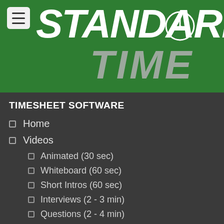[Figure (logo): Standard Time logo with clock icon on green header background, hamburger menu icon in top left]
TIMESHEET SOFTWARE
Home
Videos
Animated (30 sec)
Whiteboard (60 sec)
Short Intros (60 sec)
Interviews (2 - 3 min)
Questions (2 - 4 min)
Instructional (3 - 6 min)
Definitions (60 secs)